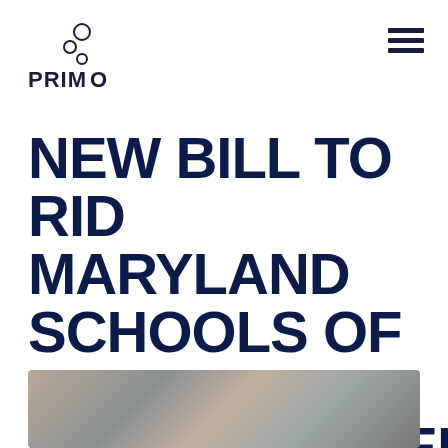PRIMO
NEW BILL TO RID MARYLAND SCHOOLS OF LEAD-CONTAMINATED WATER
April 19, 2019
[Figure (photo): Close-up photograph of metal water faucets or fixtures, blurred/bokeh background, gray and brown tones]